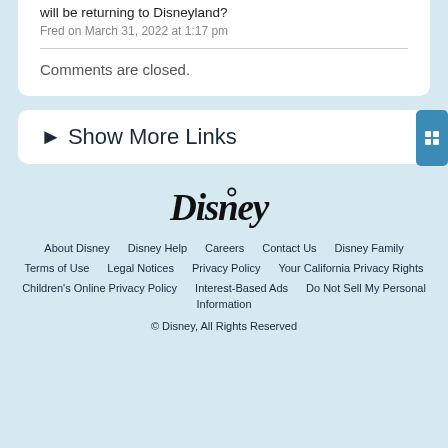will be returning to Disneyland?
Fred on March 31, 2022 at 1:17 pm
Comments are closed.
► Show More Links
[Figure (logo): Disney logo in stylized cursive font]
About Disney   Disney Help   Careers   Contact Us   Disney Family   Terms of Use   Legal Notices   Privacy Policy   Your California Privacy Rights   Children's Online Privacy Policy   Interest-Based Ads   Do Not Sell My Personal Information   © Disney, All Rights Reserved